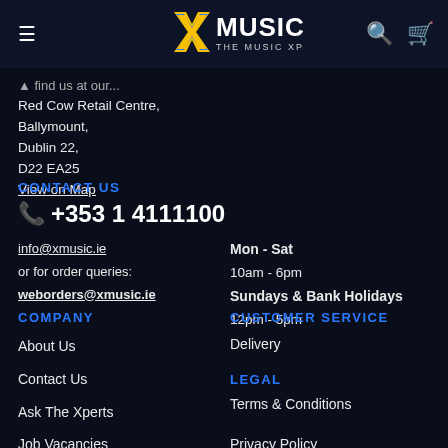XMUSIC THE MUSIC XPERTS
Red Cow Retail Centre,
Ballymount,
Dublin 22,
D22 EA25
View on Map
CONTACT US
+353 1 4111100
info@xmusic.ie
or for order queries:
weborders@xmusic.ie
Mon - Sat
10am - 6pm
Sundays & Bank Holidays
12pm - 5pm
COMPANY
CUSTOMER SERVICE
About Us
Contact Us
Ask The Xperts
Delivery
LEGAL
Terms & Conditions
Job Vacancies
Privacy Policy